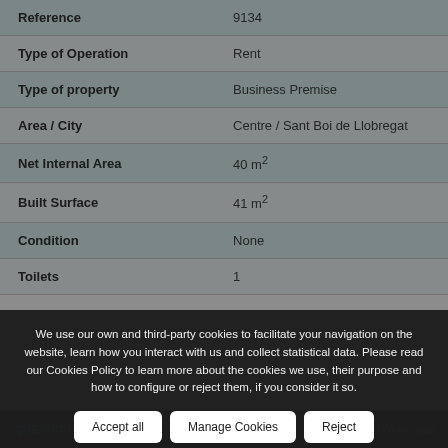| Property | Value |
| --- | --- |
| Reference | 9134 |
| Type of Operation | Rent |
| Type of property | Business Premise |
| Area / City | Centre / Sant Boi de Llobregat |
| Net Internal Area | 40 m² |
| Built Surface | 41 m² |
| Condition | None |
| Toilets | 1 |
We use our own and third-party cookies to facilitate your navigation on the website, learn how you interact with us and collect statistical data. Please read our Cookies Policy to learn more about the cookies we use, their purpose and how to configure or reject them, if you consider it so.